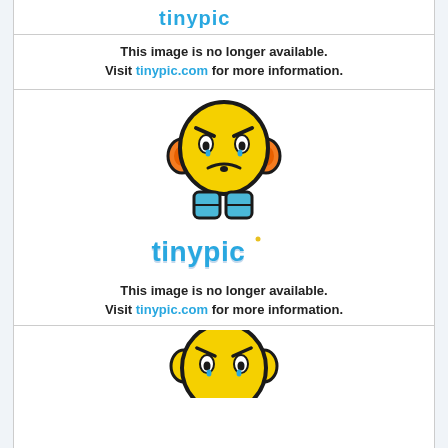[Figure (illustration): Tinypic 'image no longer available' placeholder showing partial logo at top]
This image is no longer available. Visit tinypic.com for more information.
[Figure (illustration): Tinypic 'image no longer available' placeholder with angry emoji character and tinypic logo]
This image is no longer available. Visit tinypic.com for more information.
[Figure (illustration): Tinypic 'image no longer available' placeholder showing partial emoji character at bottom]